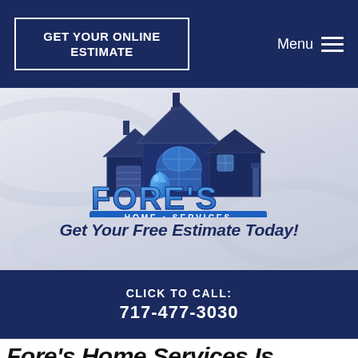GET YOUR ONLINE ESTIMATE
Menu
[Figure (logo): Fore's Home Services logo with house illustration and water drop, text reads FORE'S HOME SERVICES]
Get Your Free Estimate Today!
CLICK TO CALL: 717-477-3030
Fore's Home Services Is